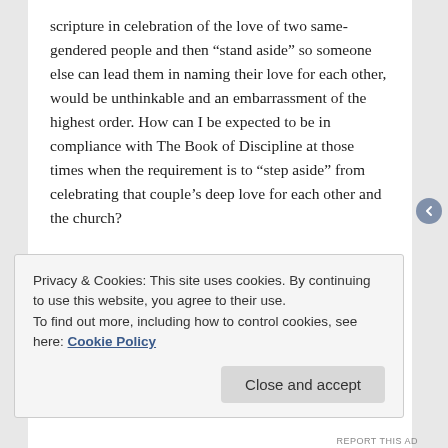scripture in celebration of the love of two same-gendered people and then “stand aside” so someone else can lead them in naming their love for each other, would be unthinkable and an embarrassment of the highest order. How can I be expected to be in compliance with The Book of Discipline at those times when the requirement is to “step aside” from celebrating that couple’s deep love for each other and the church?
For me, I would rather accept the challenge of Jesus and attempt to live faithfully by loving God and neighbor even if that requires me to be in non-compliance with parts of The Book of Discipline.
Privacy & Cookies: This site uses cookies. By continuing to use this website, you agree to their use.
To find out more, including how to control cookies, see here: Cookie Policy